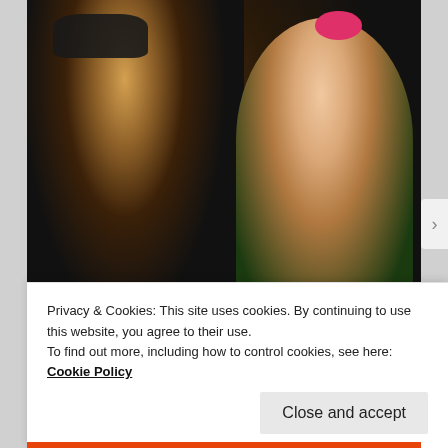[Figure (photo): Photo of a man wearing sunglasses smiling with a young girl who has a pink bow in her hair, outdoors]
[Pics] Girl Gives Garbage Man Cupcake Every Week Until Dad...
[Figure (photo): Thumbnail image of a person with highlighted hair, partial view]
Embarrassing Fashion Trends Boomers Won't
Privacy & Cookies: This site uses cookies. By continuing to use this website, you agree to their use.
To find out more, including how to control cookies, see here: Cookie Policy